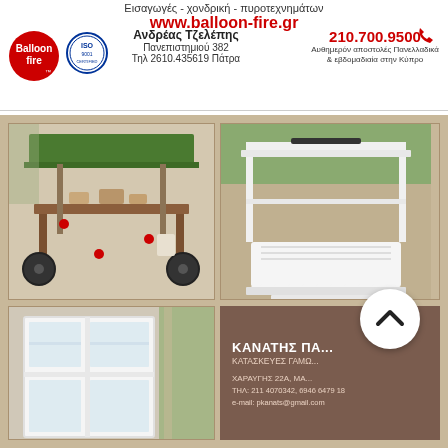Εισαγωγές - χονδρική - πυροτεχνημάτων
www.balloon-fire.gr
[Figure (logo): Balloon fire red circle logo]
[Figure (logo): ISO certification logo]
Ανδρέας Τζελέπης
Πανεπιστημιού 382
Τηλ 2610.435619 Πάτρα
[Figure (logo): Red telephone handset icon]
210.700.9500
Αυθημερόν αποστολές Πανελλαδικά & εβδομαδιαία στην Κύπρο
[Figure (photo): Rustic wooden market cart/stand with green roof and decorative items]
[Figure (photo): White decorative kiosk/stand with scalloped edges and canopy frame]
[Figure (photo): White wooden window frame/display stand outdoors]
ΚΑΝΑΤΗΣ ΠΑ...
ΚΑΤΑΣΚΕΥΕΣ ΓΑΜΩ...
ΧΑΡΑΥΓΗΣ 22Α, ΜΑ...
ΤΗΛ: 211 4070342, 6946 6479 18
e-mail: pkanats@gmail.com